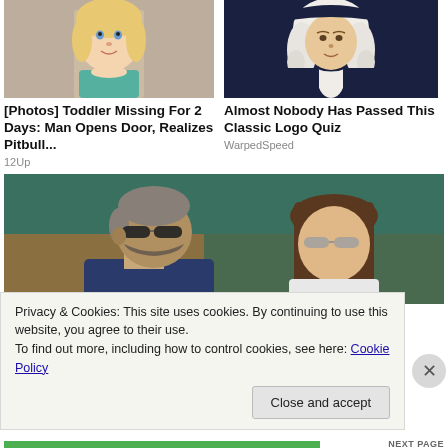[Figure (photo): Photo of a young blonde toddler girl in a teal shirt]
[Figure (photo): Illustration of a historical figure in colonial attire with white wig]
[Photos] Toddler Missing For 2 Days: Man Opens Door, Realizes Pitbull...
12Up
Almost Nobody Has Passed This Classic Logo Quiz
WarpedSpeed
[Figure (photo): Photo of two people wearing sunglasses at what appears to be a sporting event, man in profile on left, woman facing camera on right]
Privacy & Cookies: This site uses cookies. By continuing to use this website, you agree to their use.
To find out more, including how to control cookies, see here: Cookie Policy
Close and accept